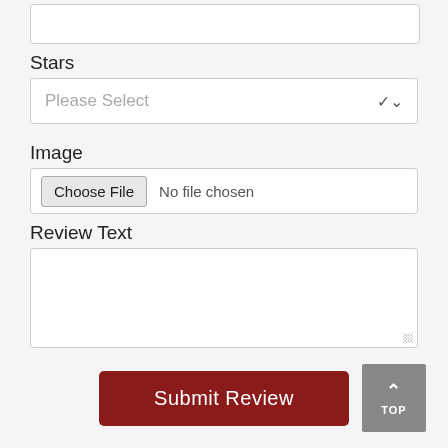[Figure (screenshot): Partial text area input field (top of page, clipped)]
Stars
[Figure (screenshot): Dropdown select field with placeholder 'Please Select' and chevron icon]
Image
[Figure (screenshot): File input with 'Choose File' button and 'No file chosen' text]
Review Text
[Figure (screenshot): Large textarea for review text input]
[Figure (screenshot): Submit Review button (dark red) and TOP scroll button (gray)]
RELATED PRODUCTS
[Figure (screenshot): Bottom box (partial product card clipped at bottom of page)]